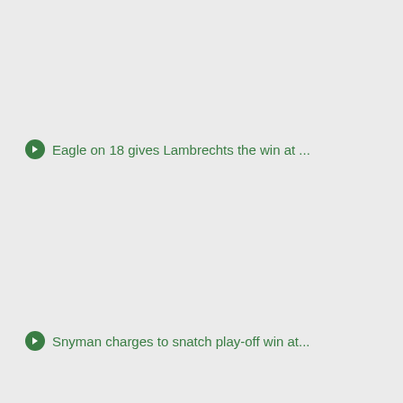Eagle on 18 gives Lambrechts the win at ...
Snyman charges to snatch play-off win at...